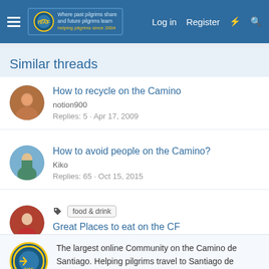The Camino Forum — Log in  Register
Similar threads
How to recycle on the Camino
notion900
Replies: 5 · Apr 17, 2009
How to avoid people on the Camino?
Kiko
Replies: 65 · Oct 15, 2015
food & drink
Great Places to eat on the CF
SYates
Replies: 84 · Mar 13, 2017
The largest online Community on the Camino de Santiago. Helping pilgrims travel to Santiago de Compostela. Register (free) or Log in to join.